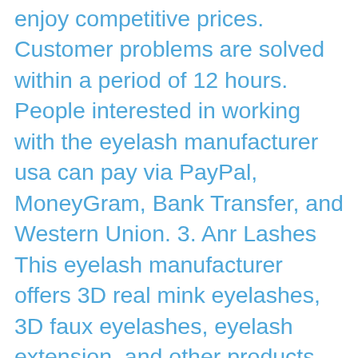enjoy competitive prices. Customer problems are solved within a period of 12 hours. People interested in working with the eyelash manufacturer usa can pay via PayPal, MoneyGram, Bank Transfer, and Western Union. 3. Anr Lashes This eyelash manufacturer offers 3D real mink eyelashes, 3D faux eyelashes, eyelash extension, and other products. Luxury 5d Mink Eyelashes operates from China. The manufacturer is ideal for people interested in private lash packaging. The eyelash manufacturer only uses 100% mink fur as the raw material. All the products produced by the